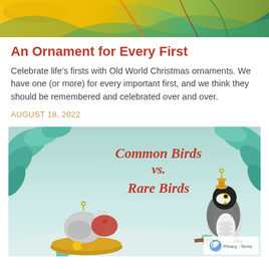[Figure (photo): Decorative banner image with yellow/golden background and colorful festive decorations including green ribbons or streamers at the top of the page]
An Ornament for Every First
Celebrate life's firsts with Old World Christmas ornaments. We have one (or more) for every important first, and we think they should be remembered and celebrated over and over.
AUGUST 18, 2022
[Figure (photo): Promotional image showing Christmas ornaments of birds on a light blue/teal background with green leaves. Text reads 'Common Birds vs. Rare Birds' in red italic script. On the left are chicken/hen ornaments (a rooster, hen, and chick), and on the right is a falcon/hawk ornament. A reCAPTCHA privacy badge appears in the bottom right corner.]